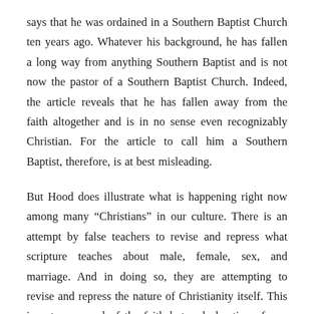says that he was ordained in a Southern Baptist Church ten years ago. Whatever his background, he has fallen a long way from anything Southern Baptist and is not now the pastor of a Southern Baptist Church. Indeed, the article reveals that he has fallen away from the faith altogether and is in no sense even recognizably Christian. For the article to call him a Southern Baptist, therefore, is at best misleading.
But Hood does illustrate what is happening right now among many “Christians” in our culture. There is an attempt by false teachers to revise and repress what scripture teaches about male, female, sex, and marriage. And in doing so, they are attempting to revise and repress the nature of Christianity itself. This is not a renewal of the faith but a declaration of war upon it.